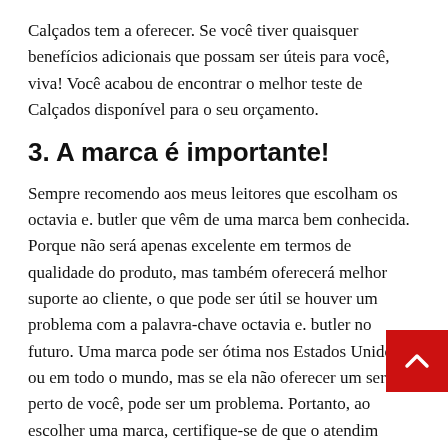Calçados tem a oferecer. Se você tiver quaisquer benefícios adicionais que possam ser úteis para você, viva! Você acabou de encontrar o melhor teste de Calçados disponível para o seu orçamento.
3. A marca é importante!
Sempre recomendo aos meus leitores que escolham os octavia e. butler que vêm de uma marca bem conhecida. Porque não será apenas excelente em termos de qualidade do produto, mas também oferecerá melhor suporte ao cliente, o que pode ser útil se houver um problema com a palavra-chave octavia e. butler no futuro. Uma marca pode ser ótima nos Estados Unidos ou em todo o mundo, mas se ela não oferecer um serviço perto de você, pode ser um problema. Portanto, ao escolher uma marca, certifique-se de que o atendimento ao cliente ou centro de suporte está próximo.
4. Verifique as ofertas